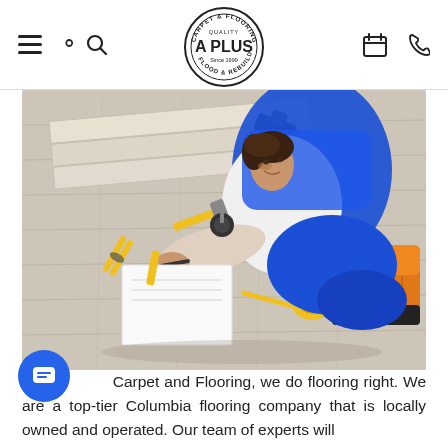A Plus Carpet & Flooring — Quality Since 1999 — Flood & Rebuild
[Figure (photo): A male flooring installer in blue overalls and white shirt, kneeling on light wood laminate flooring, writing on a notepad surrounded by flooring planks and yellow hand tools, with an orange toolbox on the right.]
At A Plus Carpet and Flooring, we do flooring right. We are a top-tier Columbia flooring company that is locally owned and operated. Our team of experts will